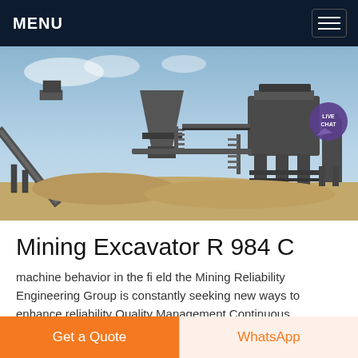MENU
[Figure (photo): Outdoor mining/crushing plant facility with conveyor belts, large industrial machinery, and concrete supports on a dusty open-pit site under a blue sky.]
Mining Excavator R 984 C
machine behavior in the fi eld the Mining Reliability Engineering Group is constantly seeking new ways to enhance reliability Quality Management Continuous
Get a Quote
WhatsApp